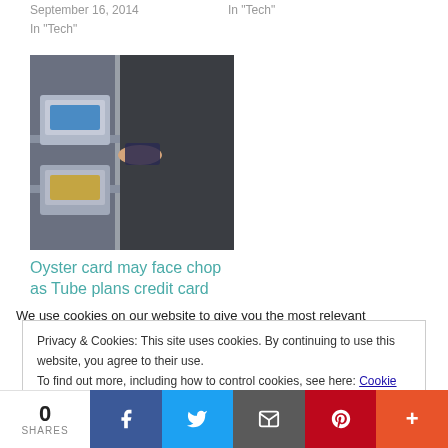September 16, 2014
In "Tech"
In "Tech"
[Figure (photo): Person using an Oyster card at a London Underground ticket barrier]
Oyster card may face chop as Tube plans credit card ticket system
February 25, 2011
In "Tech"
We use cookies on our website to give you the most relevant
Privacy & Cookies: This site uses cookies. By continuing to use this website, you agree to their use.
To find out more, including how to control cookies, see here: Cookie Policy
0 SHARES | Facebook | Twitter | Email | Pinterest | More